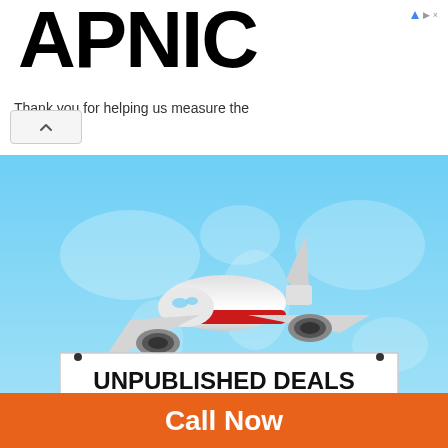APNIC
Thank you for helping us measure the Internet.
[Figure (illustration): Travel advertisement banner showing a passenger airplane over a world map with text 'UNPUBLISHED DEALS' on a sign and 'Get upto 40% OFF' below, on a light blue background.]
Call Now